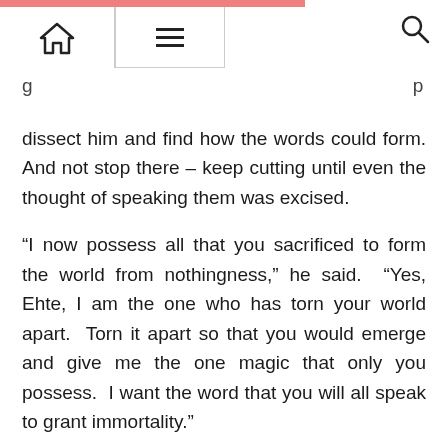[navigation bar with home, menu, and search icons]
dissect him and find how the words could form. And not stop there – keep cutting until even the thought of speaking them was excised.
“I now possess all that you sacrificed to form the world from nothingness,” he said.  “Yes, Ehte, I am the one who has torn your world apart.  Torn it apart so that you would emerge and give me the one magic that only you possess.  I want the word that you will all speak to grant immortality.”
Ehte descended the stone spire to separate himself from the interloper and address his tribe, but the human spoke, answering the questions he was about to ask.